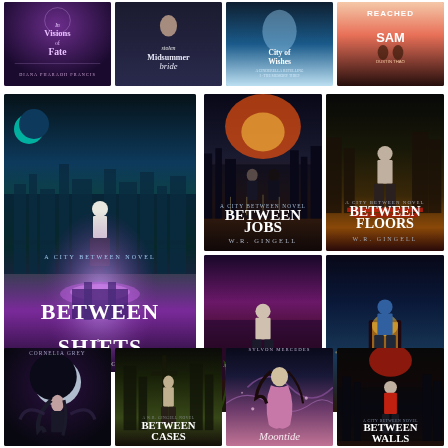[Figure (illustration): Grid of book covers: Row 1 top - Visions of Fate, Stolen Midsummer Bride, City of Wishes, Reached by Sam/Dustin Thao. Middle left large: Between Shifts by W.R. Gingell with 5 red stars below. Middle right 2x2: Between Jobs, Between Floors, Between Frames, Between Family - all by W.R. Gingell. Bottom row: dark fantasy cover, Between Cases, Moontide (Sylvon Mercedes), Between Walls.]